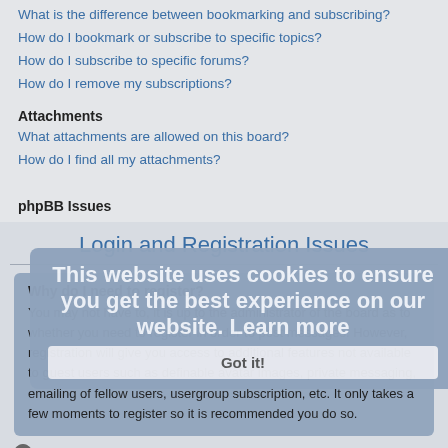What is the difference between bookmarking and subscribing?
How do I bookmark or subscribe to specific topics?
How do I subscribe to specific forums?
How do I remove my subscriptions?
Attachments
What attachments are allowed on this board?
How do I find all my attachments?
phpBB Issues
Who wrote this bulletin board?
Why isn't X feature available?
Who do I contact about abusive and/or legal matters related to this board?
How do I contact a board administrator?
Login and Registration Issues
Why do I need to register?
You may not have to, it is up to the administrator of the board as to whether you need to register in order to post messages. However, registration will give you access to additional features not available to guest users such as definable avatar images, private messaging, emailing of fellow users, usergroup subscription, etc. It only takes a few moments to register so it is recommended you do so.
Top